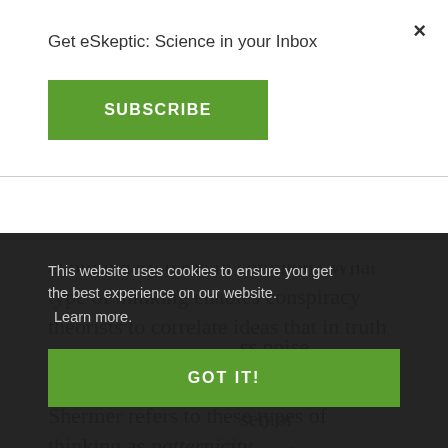Get eSkeptic: Science in your Inbox
SUBSCRIBE
Myths. Conspiracy Theories. Illusory Correlation. Do these things have an evolutionary basis in common? What type of thinking enables conspiracy theorists to correlate ideas that in truth have nothing to do with each other? In his book, The Believing Brain, Michael Shermer refers to these types of thinking as patternicity — the tendency to find meaningful patterns in meaningless noise.
senior
lege of the
eas are
o the mind
This website uses cookies to ensure you get the best experience on our website. Learn more.
GOT IT!